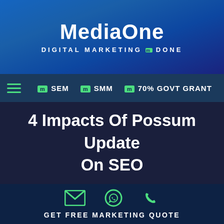MediaOne — DIGITAL MARKETING DONE
[Figure (logo): MediaOne logo with text DIGITAL MARKETING DONE]
SEM  SMM  70% GOVT GRANT
4 Impacts Of Possum Update On SEO
GET FREE MARKETING QUOTE